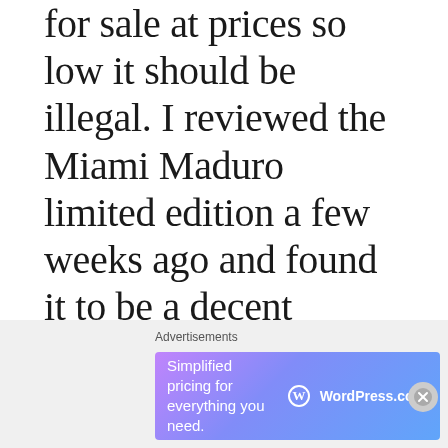for sale at prices so low it should be illegal. I reviewed the Miami Maduro limited edition a few weeks ago and found it to be a decent smoke — even a very good one, considering the price. In the meantime I've smoked all of the other small batch sticks and thought they were decent
[Figure (other): Advertisement banner for WordPress.com with text 'Simplified pricing for everything you need.' and WordPress.com logo on a blue-purple gradient background]